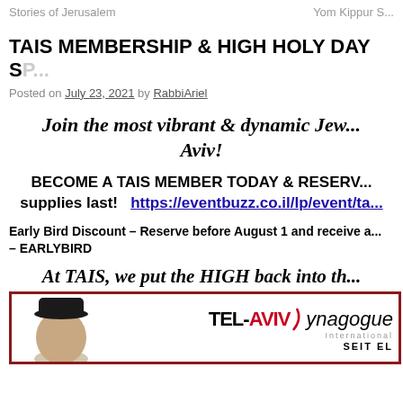Stories of Jerusalem    Yom Kippur S...
TAIS MEMBERSHIP & HIGH HOLY DAY SP...
Posted on July 23, 2021 by RabbiAriel
Join the most vibrant & dynamic Jew... Aviv!
BECOME A TAIS MEMBER TODAY & RESERV... supplies last!  https://eventbuzz.co.il/lp/event/ta...
Early Bird Discount – Reserve before August 1 and receive a... – EARLYBIRD
At TAIS, we put the HIGH back into th...
[Figure (photo): Image box with red border showing a person wearing a black hat on the left side and the Tel-Aviv Synagogue International logo on the right.]